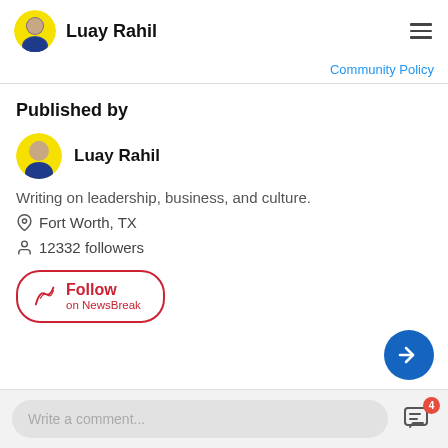Luay Rahil
Community Policy
Published by
Luay Rahil
Writing on leadership, business, and culture.
Fort Worth, TX
12332 followers
Follow on NewsBreak
Write a comment...